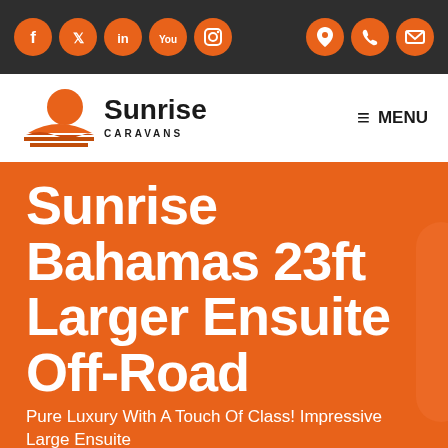Social icons: Facebook, Twitter, LinkedIn, YouTube, Instagram | Contact icons: Location, Phone, Email
[Figure (logo): Sunrise Caravans logo with orange sunrise graphic, company name in bold with CARAVANS subtitle, and hamburger MENU button on right]
Sunrise Bahamas 23ft Larger Ensuite Off-Road
Pure Luxury With A Touch Of Class! Impressive Large Ensuite
PRICE